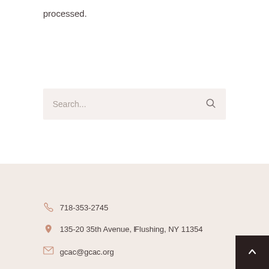processed.
Search...
718-353-2745
135-20 35th Avenue, Flushing, NY 11354
gcac@gcac.org